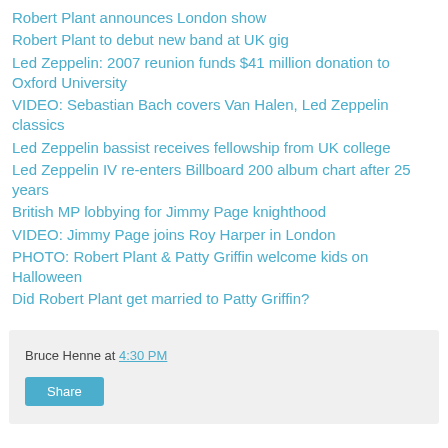Robert Plant announces London show
Robert Plant to debut new band at UK gig
Led Zeppelin: 2007 reunion funds $41 million donation to Oxford University
VIDEO: Sebastian Bach covers Van Halen, Led Zeppelin classics
Led Zeppelin bassist receives fellowship from UK college
Led Zeppelin IV re-enters Billboard 200 album chart after 25 years
British MP lobbying for Jimmy Page knighthood
VIDEO: Jimmy Page joins Roy Harper in London
PHOTO: Robert Plant & Patty Griffin welcome kids on Halloween
Did Robert Plant get married to Patty Griffin?
Bruce Henne at 4:30 PM
Share